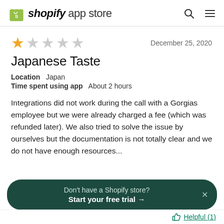shopify app store
[Figure (other): 1 out of 5 stars rating]
December 25, 2020
Japanese Taste
Location  Japan
Time spent using app  About 2 hours
Integrations did not work during the call with a Gorgias employee but we were already charged a fee (which was refunded later). We also tried to solve the issue by ourselves but the documentation is not totally clear and we do not have enough resources...
Don't have a Shopify store? Start your free trial →
Helpful (1)